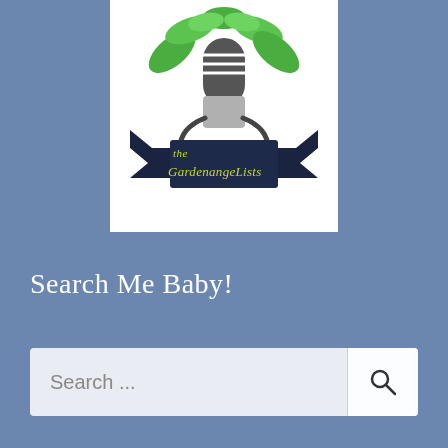[Figure (logo): The Gardenangelists podcast logo featuring a vintage microphone with green leaves sprouting above it, and a dark navy banner ribbon reading 'the Gardenangelists' in yellow-green script text, on a white background.]
Search Me Baby!
Search ...